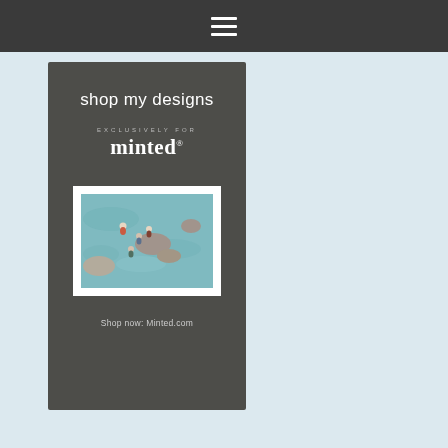[Figure (other): Navigation bar with hamburger menu icon (three horizontal lines) on dark gray background]
[Figure (illustration): Dark gray promotional card for 'shop my designs exclusively for minted.' with a framed aerial photo of people swimming near rocks in turquoise water, and text 'Shop now: Minted.com' at the bottom]